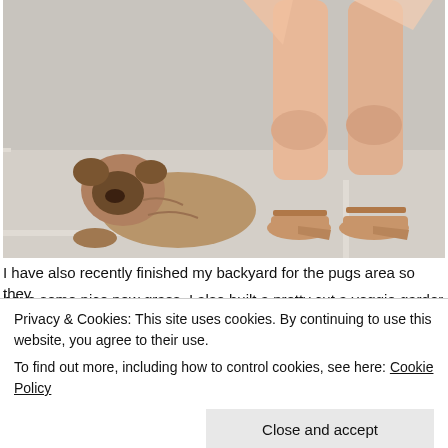[Figure (photo): A pug dog lying on beige carpet in the corner of a room, with a person standing nearby wearing a pink/peach dress and tan pointed-toe mule shoes.]
I have also recently finished my backyard for the pugs area so they have some nice new grass. I also built a pretty cut a veggie garden
Privacy & Cookies: This site uses cookies. By continuing to use this website, you agree to their use.
To find out more, including how to control cookies, see here: Cookie Policy
Close and accept
[Figure (photo): Partial view of a backyard garden scene visible at the bottom of the page.]